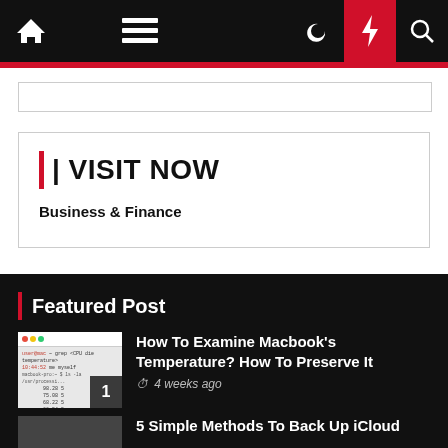Navigation bar with home, menu, moon, bolt, and search icons
[Figure (screenshot): Empty advertisement banner box]
| | VISIT NOW
Business & Finance
Featured Post
[Figure (screenshot): Thumbnail screenshot of Macbook temperature terminal output with number badge 1]
How To Examine Macbook's Temperature? How To Preserve It
4 weeks ago
5 Simple Methods To Back Up iCloud